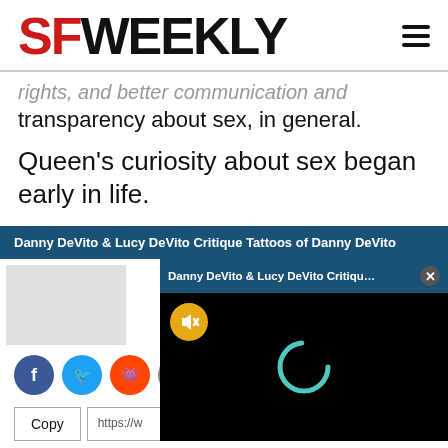SF WEEKLY
rights, and better communication and transparency about sex, in general.
Queen's curiosity about sex began early in life.
[Figure (screenshot): SF Weekly website screenshot with article text, ad banner for Danny DeVito video, social share icons (Facebook, Twitter, Reddit, Email), a copy button and URL field, and a floating video popup with Danny DeVito & Lucy DeVito Critique Tattoos title, mute button (yellow), loading spinner on black background.]